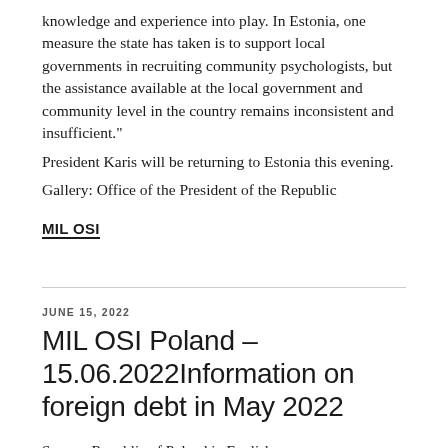knowledge and experience into play. In Estonia, one measure the state has taken is to support local governments in recruiting community psychologists, but the assistance available at the local government and community level in the country remains inconsistent and insufficient."
President Karis will be returning to Estonia this evening.
Gallery: Office of the President of the Republic
MIL OSI
JUNE 15, 2022
MIL OSI Poland – 15.06.2022Information on foreign debt in May 2022
Source: Republic of Poland in English